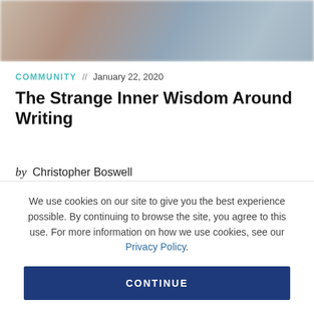[Figure (photo): Blurred photo background showing indistinct warm and cool tones, appears to show people in a blurred/bokeh style]
COMMUNITY // January 22, 2020
The Strange Inner Wisdom Around Writing
by Christopher Boswell
We use cookies on our site to give you the best experience possible. By continuing to browse the site, you agree to this use. For more information on how we use cookies, see our Privacy Policy.
CONTINUE